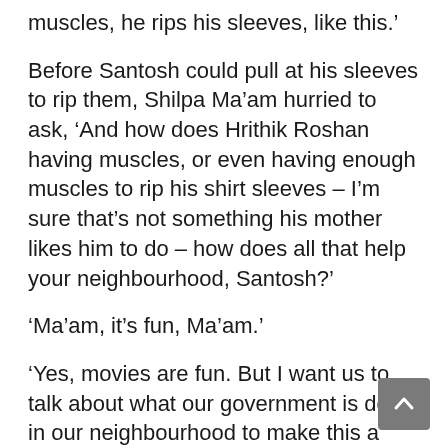muscles, he rips his sleeves, like this.'
Before Santosh could pull at his sleeves to rip them, Shilpa Ma’am hurried to ask, ‘And how does Hrithik Roshan having muscles, or even having enough muscles to rip his shirt sleeves – I’m sure that’s not something his mother likes him to do – how does all that help your neighbourhood, Santosh?’
‘Ma’am, it’s fun, Ma’am.’
‘Yes, movies are fun. But I want us to talk about what our government is doing in our neighbourhood to make this a better place to live. Poonam?’